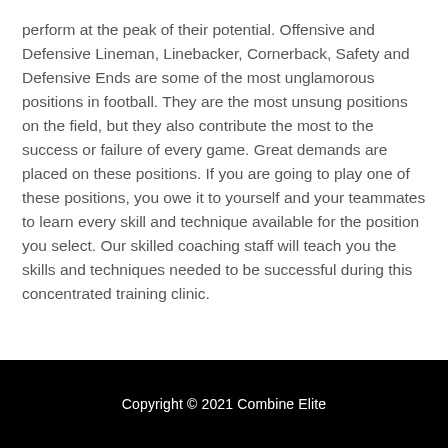perform at the peak of their potential. Offensive and Defensive Lineman, Linebacker, Cornerback, Safety and Defensive Ends are some of the most unglamorous positions in football. They are the most unsung positions on the field, but they also contribute the most to the success or failure of every game. Great demands are placed on these positions. If you are going to play one of these positions, you owe it to yourself and your teammates to learn every skill and technique available for the position you select. Our skilled coaching staff will teach you the skills and techniques needed to be successful during this concentrated training clinic.
Copyright © 2021 Combine Elite